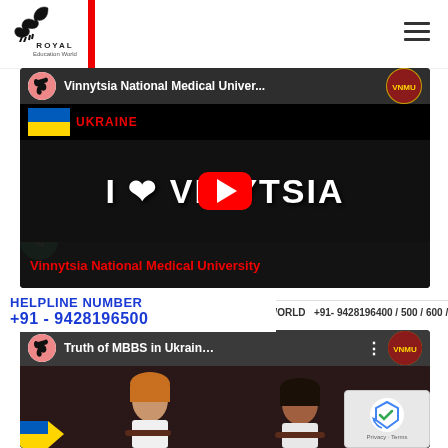[Figure (logo): Royal Education World logo with horse silhouette and text]
[Figure (screenshot): YouTube video thumbnail: Vinnytsia National Medical University video with I❤VINNYTSIA text and play button]
HELPLINE NUMBER
+91 - 9428196500
ON WORLD   +91- 9428196400 / 500 / 600 / 700
[Figure (screenshot): YouTube video thumbnail: Truth of MBBS in Ukraine by Ms. N... showing two people seated]